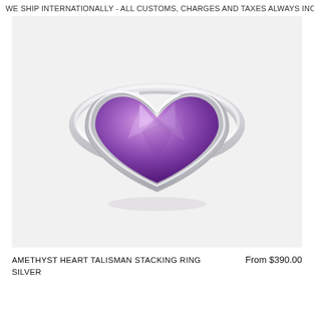WE SHIP INTERNATIONALLY - ALL CUSTOMS, CHARGES AND TAXES ALWAYS INCLUD
[Figure (photo): A silver ring with a heart-shaped amethyst gemstone set in a bezel on a light gray background.]
AMETHYST HEART TALISMAN STACKING RING SILVER
From $390.00